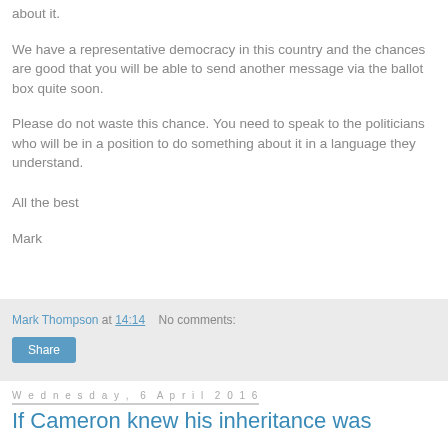about it.
We have a representative democracy in this country and the chances are good that you will be able to send another message via the ballot box quite soon.
Please do not waste this chance. You need to speak to the politicians who will be in a position to do something about it in a language they understand.
All the best
Mark
Mark Thompson at 14:14   No comments:
Share
Wednesday, 6 April 2016
If Cameron knew his inheritance was